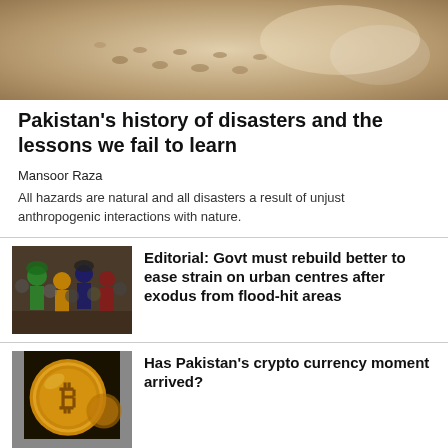[Figure (photo): Top banner photo showing sandy/muddy ground texture]
Pakistan's history of disasters and the lessons we fail to learn
Mansoor Raza
All hazards are natural and all disasters a result of unjust anthropogenic interactions with nature.
[Figure (photo): People crowded together, flood relief or urban scene]
Editorial: Govt must rebuild better to ease strain on urban centres after exodus from flood-hit areas
[Figure (photo): Bitcoin gold coin close-up]
Has Pakistan's crypto currency moment arrived?
[Figure (photo): Person's face, partial view]
Editorial: IMF nod for funds' release is a